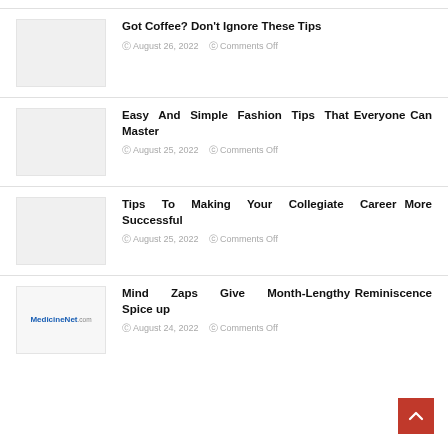Got Coffee? Don't Ignore These Tips — August 26, 2022 — Comments Off
Easy And Simple Fashion Tips That Everyone Can Master — August 25, 2022 — Comments Off
Tips To Making Your Collegiate Career More Successful — August 25, 2022 — Comments Off
Mind Zaps Give Month-Lengthy Reminiscence Spice up — August 24, 2022 — Comments Off